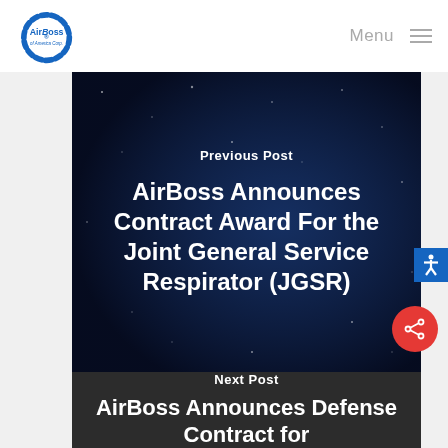[Figure (logo): AirBoss of America Corp. circular logo with blue dashed ring]
Menu
Previous Post
AirBoss Announces Contract Award For the Joint General Service Respirator (JGSR)
Next Post
AirBoss Announces Defense Contract for